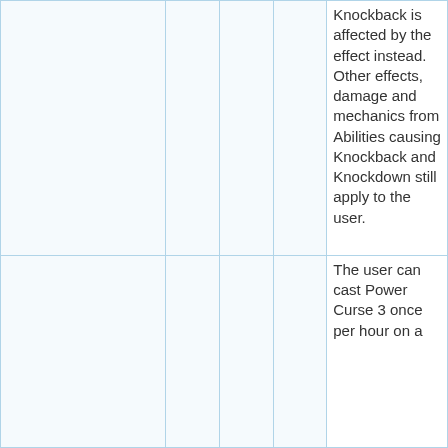|  |  |  |  | Knockback is affected by the effect instead. Other effects, damage and mechanics from Abilities causing Knockback and Knockdown still apply to the user. |
|  |  |  |  | The user can cast Power Curse 3 once per hour on a |